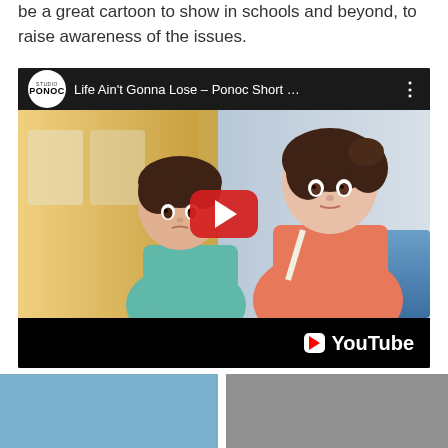be a great cartoon to show in schools and beyond, to raise awareness of the issues.
[Figure (screenshot): YouTube video embed showing Studio Ponoc animated short 'Life Ain't Gonna Lose – Ponoc Short ...' featuring anime-style illustration of a woman in a red top and a young boy on a train, with a red YouTube play button overlay and YouTube logo in the bottom bar.]